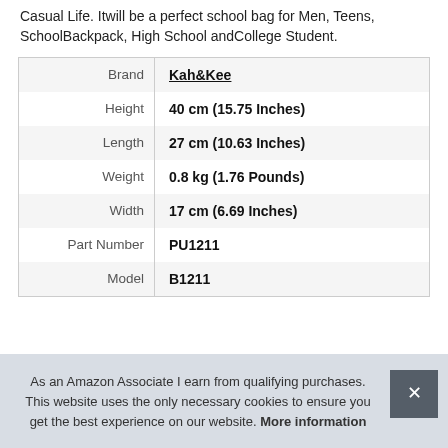Casual Life. Itwill be a perfect school bag for Men, Teens, SchoolBackpack, High School andCollege Student.
|  |  |
| --- | --- |
| Brand | Kah&Kee |
| Height | 40 cm (15.75 Inches) |
| Length | 27 cm (10.63 Inches) |
| Weight | 0.8 kg (1.76 Pounds) |
| Width | 17 cm (6.69 Inches) |
| Part Number | PU1211 |
| Model | B1211 |
As an Amazon Associate I earn from qualifying purchases. This website uses the only necessary cookies to ensure you get the best experience on our website. More information